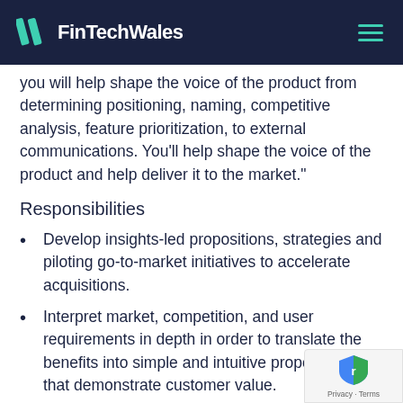FinTechWales
you will help shape the voice of the product from determining positioning, naming, competitive analysis, feature prioritization, to external communications. You'll help shape the voice of the product and help deliver it to the market."
Responsibilities
Develop insights-led propositions, strategies and piloting go-to-market initiatives to accelerate acquisitions.
Interpret market, competition, and user requirements in depth in order to translate the benefits into simple and intuitive propositions that demonstrate customer value.
Owning messaging and positioning for your audience.